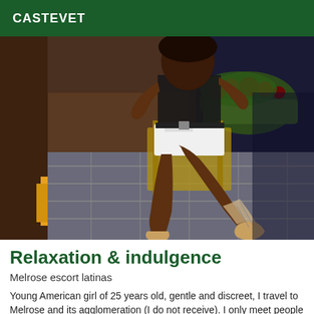CASTEVET
[Figure (photo): A woman wearing white shorts and a black top sitting on a wicker chair outdoors on a stone patio, wearing transparent high-heeled lace-up boots, with plants and flowers in the background.]
Relaxation & indulgence
Melrose escort latinas
Young American girl of 25 years old, gentle and discreet, I travel to Melrose and its agglomeration (I do not receive). I only meet people in their forties...